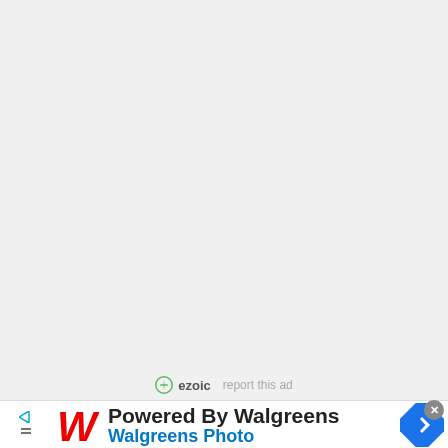[Figure (other): Large empty gray area (ad placeholder)]
ezoic   report this ad
[Figure (other): Walgreens advertisement banner: 'Powered By Walgreens / Walgreens Photo' with Walgreens W logo and blue navigation arrow diamond icon]